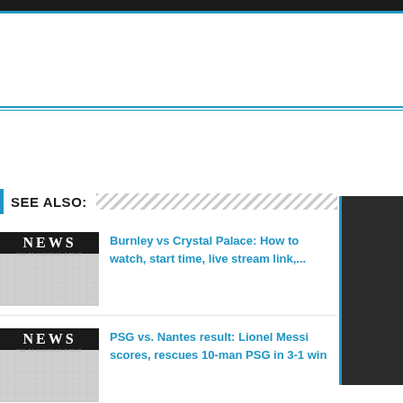SEE ALSO:
[Figure (photo): NEWS newspaper thumbnail image]
Burnley vs Crystal Palace: How to watch, start time, live stream link,...
[Figure (photo): NEWS newspaper thumbnail image]
PSG vs. Nantes result: Lionel Messi scores, rescues 10-man PSG in 3-1 win